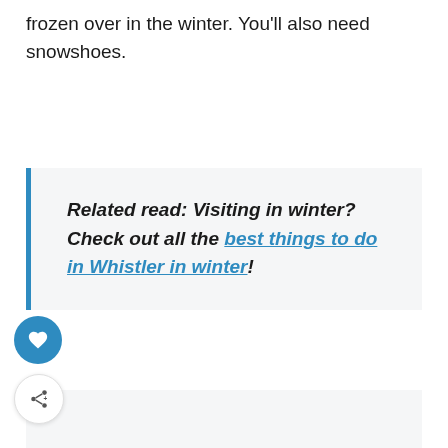frozen over in the winter. You'll also need snowshoes.
Related read: Visiting in winter? Check out all the best things to do in Whistler in winter!
[Figure (other): Light grey image placeholder area below callout box]
[Figure (other): Blue circular like/heart button and white circular share button on left side]